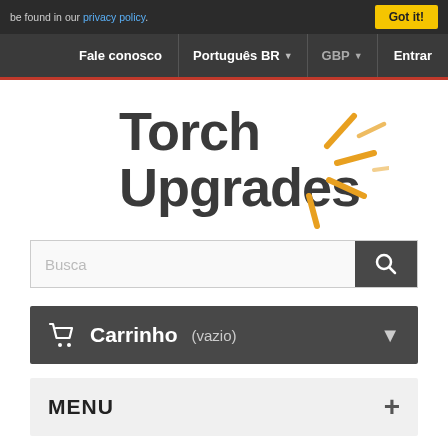be found in our privacy policy.
Fale conosco | Português BR | GBP | Entrar
[Figure (logo): Torch Upgrades logo with stylized text and orange radial lines suggesting a torch beam]
Busca
Carrinho (vazio)
MENU